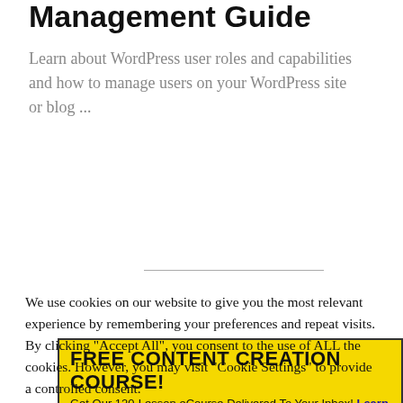Management Guide
Learn about WordPress user roles and capabilities and how to manage users on your WordPress site or blog ...
[Figure (infographic): Yellow advertisement banner with black border reading 'FREE CONTENT CREATION COURSE! Get Our 120-Lesson eCourse Delivered To Your Inbox! Learn More...']
We use cookies on our website to give you the most relevant experience by remembering your preferences and repeat visits. By clicking "Accept All", you consent to the use of ALL the cookies. However, you may visit "Cookie Settings" to provide a controlled consent.
Cookie Settings
Accept All